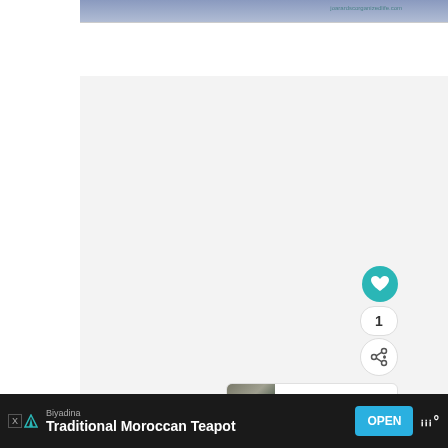[Figure (photo): Partial view of a person in a blue top, with watermark text 'joardscorganizedlife.com' visible in the bottom-right corner of the image.]
[Figure (screenshot): Light gray content area representing the main body of a web page, with a teal heart button (like button) showing a count of 1, a share button below it, and a 'WHAT'S NEXT' card showing '6 Easy Tips for Reducing...' in the bottom-right corner.]
[Figure (screenshot): Dark advertisement bar at the bottom of the page showing 'Biyadina' sponsor, 'Traditional Moroccan Teapot' ad title, an OPEN button in blue, and a logo on the right side. Ad indicator badges on the left.]